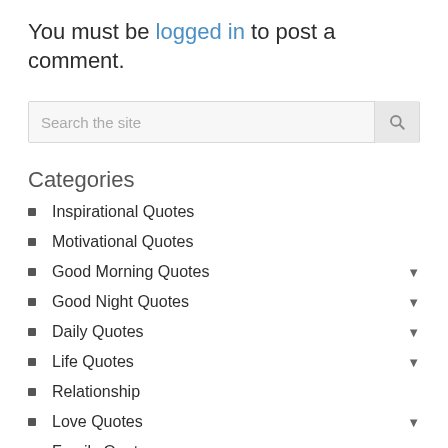You must be logged in to post a comment.
Search the site
Categories
Inspirational Quotes
Motivational Quotes
Good Morning Quotes
Good Night Quotes
Daily Quotes
Life Quotes
Relationship
Love Quotes
Family Quotes
Famous Quotes